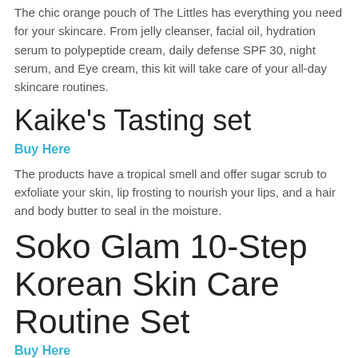The chic orange pouch of The Littles has everything you need for your skincare. From jelly cleanser, facial oil, hydration serum to polypeptide cream, daily defense SPF 30, night serum, and Eye cream, this kit will take care of your all-day skincare routines.
Kaike's Tasting set
Buy Here
The products have a tropical smell and offer sugar scrub to exfoliate your skin, lip frosting to nourish your lips, and a hair and body butter to seal in the moisture.
Soko Glam 10-Step Korean Skin Care Routine Set
Buy Here